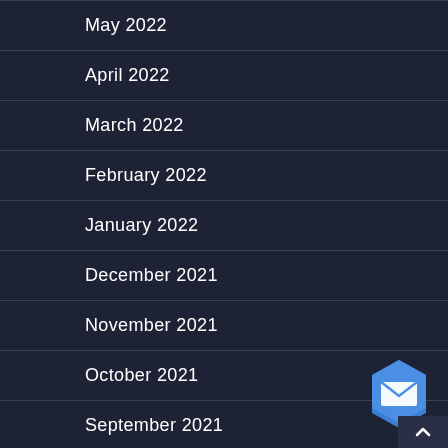May 2022
April 2022
March 2022
February 2022
January 2022
December 2021
November 2021
October 2021
September 2021
[Figure (illustration): Blue hexagonal mail/email button icon in lower right corner]